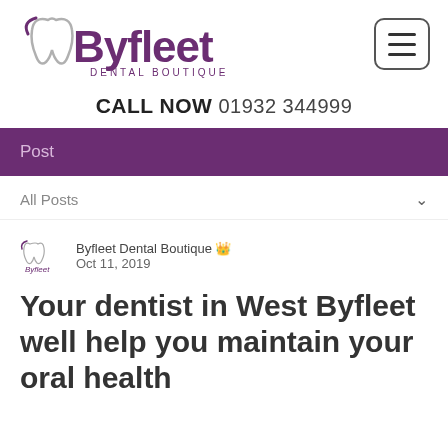[Figure (logo): Byfleet Dental Boutique logo with tooth icon and purple text]
CALL NOW 01932 344999
Post
All Posts
Byfleet Dental Boutique 👑
Oct 11, 2019
Your dentist in West Byfleet well help you maintain your oral health